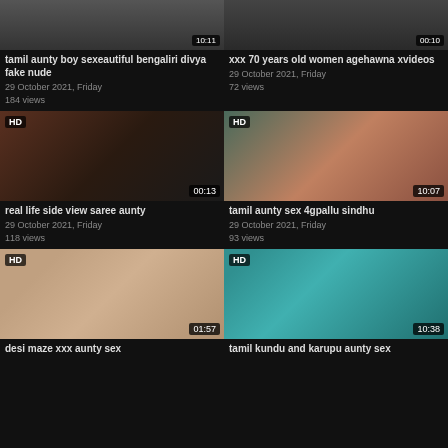[Figure (screenshot): Video thumbnail grid - top left, partially visible]
tamil aunty boy sexeautiful bengaliri divya fake nude
29 October 2021, Friday
184 views
[Figure (screenshot): Video thumbnail grid - top right, partially visible]
xxx 70 years old women agehawna xvideos
29 October 2021, Friday
72 views
[Figure (screenshot): Video thumbnail - real life side view saree aunty, HD, 00:13]
real life side view saree aunty
29 October 2021, Friday
118 views
[Figure (screenshot): Video thumbnail - tamil aunty sex 4gpallu sindhu, HD, 10:07]
tamil aunty sex 4gpallu sindhu
29 October 2021, Friday
93 views
[Figure (screenshot): Video thumbnail - desi maze xxx aunty sex, HD, 01:57]
desi maze xxx aunty sex
[Figure (screenshot): Video thumbnail - tamil kundu and karupu aunty sex, HD, 10:38]
tamil kundu and karupu aunty sex